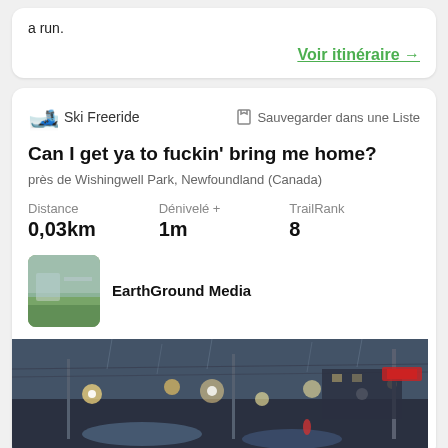a run.
Voir itinéraire →
Ski Freeride
Sauvegarder dans une Liste
Can I get ya to fuckin' bring me home?
près de Wishingwell Park, Newfoundland (Canada)
| Distance | Dénivelé + | TrailRank |
| --- | --- | --- |
| 0,03km | 1m | 8 |
EarthGround Media
[Figure (photo): Street scene in rainy weather with sparkling lights and wet road, taken from inside a car]